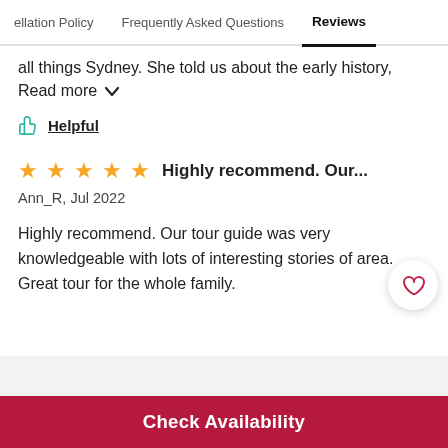ellation Policy   Frequently Asked Questions   Reviews
all things Sydney. She told us about the early history,
Read more ∨
👍 Helpful
★★★★★ Highly recommend. Our...
Ann_R, Jul 2022
Highly recommend. Our tour guide was very knowledgeable with lots of interesting stories of area. Great tour for the whole family.
Check Availability